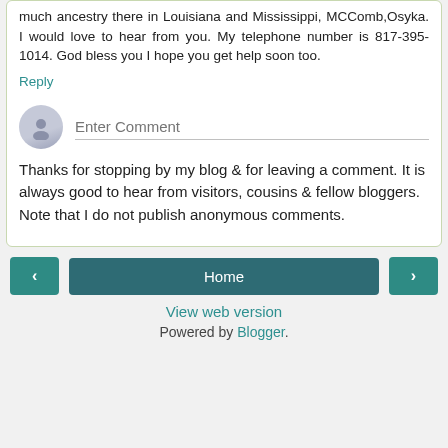much ancestry there in Louisiana and Mississippi, MCComb,Osyka. I would love to hear from you. My telephone number is 817-395-1014. God bless you I hope you get help soon too.
Reply
[Figure (illustration): Avatar icon placeholder circle with a person silhouette, next to an 'Enter Comment' input field with a bottom border line]
Thanks for stopping by my blog & for leaving a comment. It is always good to hear from visitors, cousins & fellow bloggers. Note that I do not publish anonymous comments.
< Home >
View web version
Powered by Blogger.